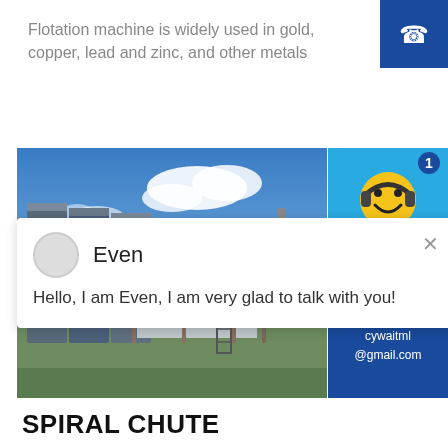Flotation machine is widely used in gold, copper, lead and zinc, and other metals
[Figure (photo): Industrial flotation/mineral processing plant with industrial equipment, silos, scaffolding, under blue sky with clouds]
Even
Hello, I am Even, I am very glad to talk with you!
[Figure (illustration): Yellow smiley face with headphones chat widget with notification badge showing 1 and 'Click me to chat >>' button]
Enquiry
cywaitml@gmail.com
SPIRAL CHUTE